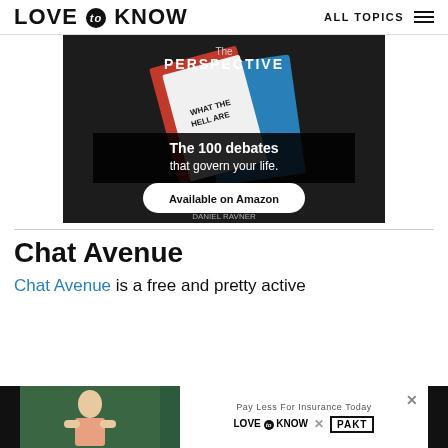LOVE to KNOW | ALL TOPICS
[Figure (illustration): Book advertisement for 'The Perspective' by Daniel Ravner showing a red and blue book with text 'The 100 debates that govern your life.' and a white oval button reading 'Available on Amazon']
Chat Avenue
Chat Avenue is a free and pretty active
[Figure (photo): Bottom advertisement banner showing a woman outdoors on the left (dark background) and LoveToKnow x PAKT promotional content on the right with tagline 'Pay Less For Insurance Today']